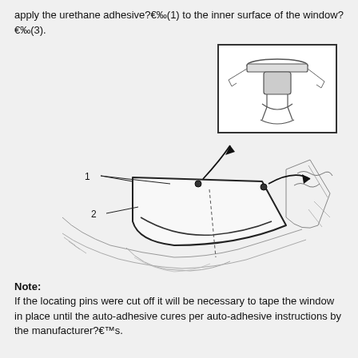apply the urethane adhesive?€‰(1) to the inner surface of the window?€‰(3).
[Figure (engineering-diagram): Technical illustration showing a car window being installed. Labels 1 and 2 point to parts of the window/frame assembly. A curved arrow indicates rotation. An inset box in the upper right shows a close-up detail of a fastener/clip component. The window (labeled 2) is shown being pushed onto a car body with locating pins.]
Note:
If the locating pins were cut off it will be necessary to tape the window in place until the auto-adhesive cures per auto-adhesive instructions by the manufacturer?€™s.